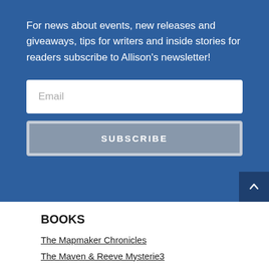For news about events, new releases and giveaways, tips for writers and inside stories for readers subscribe to Allison's newsletter!
[Figure (screenshot): Email input field with placeholder text 'Email' on white background]
[Figure (screenshot): Subscribe button in muted blue-grey color with letter-spaced white text 'SUBSCRIBE']
BOOKS
The Mapmaker Chronicles
The Maven & Reeve Mysterie3